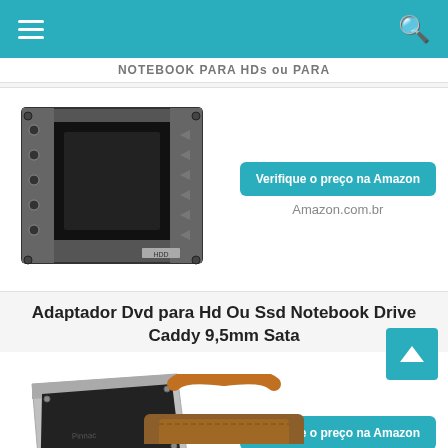NOTEBOOK PARA HDs ou PARA
[Figure (photo): HDD caddy adapter for notebook, front view showing metal frame with SSD/HDD slot]
Verifique o preço na Amazon
Amazon.com.br
Adaptador Dvd para Hd Ou Ssd Notebook Drive Caddy 9,5mm Sata
[Figure (photo): 9.5mm SATA drive caddy adapter with screwdriver, angled view]
Verifique o preço na Amazon
Amazon.com.br
[Figure (photo): Leather bag handle/luggage tag partially visible at bottom of page]